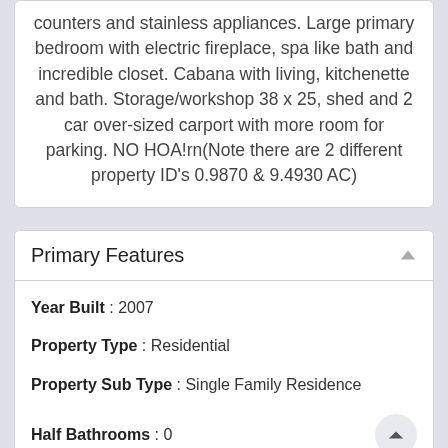counters and stainless appliances. Large primary bedroom with electric fireplace, spa like bath and incredible closet. Cabana with living, kitchenette and bath. Storage/workshop 38 x 25, shed and 2 car over-sized carport with more room for parking. NO HOA!rn(Note there are 2 different property ID's 0.9870 & 9.4930 AC)
Primary Features
Year Built : 2007
Property Type : Residential
Property Sub Type : Single Family Residence
Half Bathrooms : 0